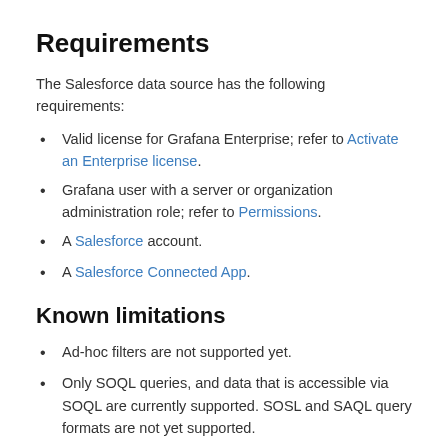Requirements
The Salesforce data source has the following requirements:
Valid license for Grafana Enterprise; refer to Activate an Enterprise license.
Grafana user with a server or organization administration role; refer to Permissions.
A Salesforce account.
A Salesforce Connected App.
Known limitations
Ad-hoc filters are not supported yet.
Only SOQL queries, and data that is accessible via SOQL are currently supported. SOSL and SAQL query formats are not yet supported.
Installation